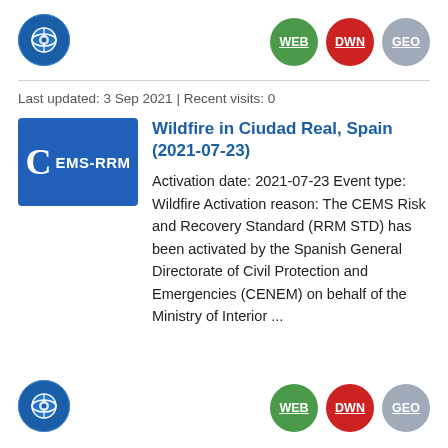[Figure (logo): Blue circular logo with eye/globe icon (Copernicus EMS) at top left]
[Figure (other): Three circular buttons: WEB (green), DWN (red), GEO (light blue/grey) at top right]
Last updated: 3 Sep 2021 | Recent visits: 0
[Figure (logo): Blue rectangular badge with large letter C and text EMS-RRM]
Wildfire in Ciudad Real, Spain (2021-07-23)
Activation date: 2021-07-23 Event type: Wildfire Activation reason: The CEMS Risk and Recovery Standard (RRM STD) has been activated by the Spanish General Directorate of Civil Protection and Emergencies (CENEM) on behalf of the Ministry of Interior ...
[Figure (logo): Blue circular logo with eye/globe icon (Copernicus EMS) at bottom left]
[Figure (other): Three circular buttons: WEB (green), DWN (red), GEO (light blue/grey) at bottom right]